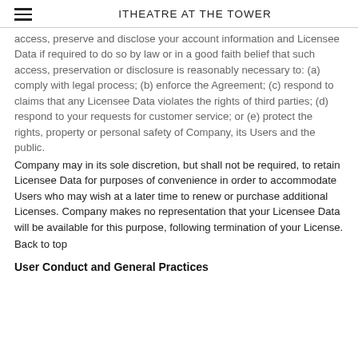ITHEATRE AT THE TOWER
access, preserve and disclose your account information and Licensee Data if required to do so by law or in a good faith belief that such access, preservation or disclosure is reasonably necessary to: (a) comply with legal process; (b) enforce the Agreement; (c) respond to claims that any Licensee Data violates the rights of third parties; (d) respond to your requests for customer service; or (e) protect the rights, property or personal safety of Company, its Users and the public.
Company may in its sole discretion, but shall not be required, to retain Licensee Data for purposes of convenience in order to accommodate Users who may wish at a later time to renew or purchase additional Licenses. Company makes no representation that your Licensee Data will be available for this purpose, following termination of your License.
Back to top
User Conduct and General Practices